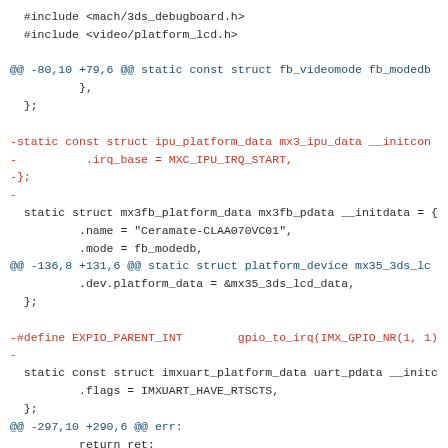#include <mach/3ds_debugboard.h>
#include <video/platform_lcd.h>

@@ -80,10 +79,6 @@ static const struct fb_videomode fb_modedb
        },
 };

-static const struct ipu_platform_data mx3_ipu_data __initcon
-        .irq_base = MXC_IPU_IRQ_START,
-};
-
 static struct mx3fb_platform_data mx3fb_pdata __initdata = {
        .name = "Ceramate-CLAA070VC01",
        .mode = fb_modedb,
@@ -136,8 +131,6 @@ static struct platform_device mx35_3ds_lc
        .dev.platform_data = &mx35_3ds_lcd_data,
 };

-#define EXPIO_PARENT_INT        gpio_to_irq(IMX_GPIO_NR(1, 1)
-
 static const struct imxuart_platform_data uart_pdata __initc
        .flags = IMXUART_HAVE_RTSCTS,
 };
@@ -297,10 +290,6 @@ err:
        return ret;